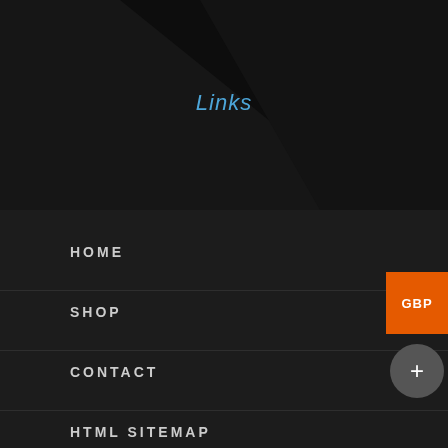Links
HOME
SHOP
CONTACT
HTML SITEMAP
XML SITEMAP
INFORMATION ON SARMS
GBP
+